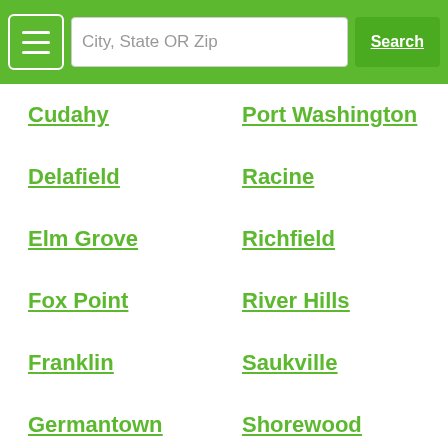City, State OR Zip | Search
Cudahy
Port Washington
Delafield
Racine
Elm Grove
Richfield
Fox Point
River Hills
Franklin
Saukville
Germantown
Shorewood
Glendale
Slinger
Grafton
South Milwaukee
Greendale
St. Francis